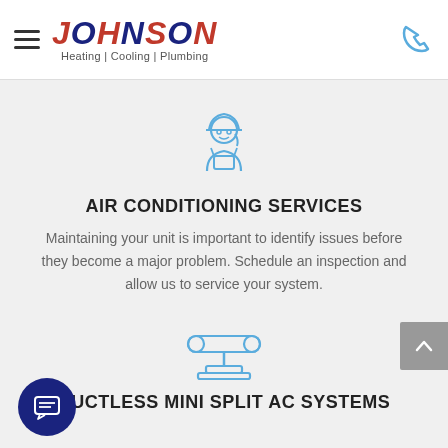JOHNSON Heating | Cooling | Plumbing
[Figure (illustration): Blue line-art icon of a female technician/worker with hard hat and tool belt]
AIR CONDITIONING SERVICES
Maintaining your unit is important to identify issues before they become a major problem. Schedule an inspection and allow us to service your system.
[Figure (illustration): Blue line-art icon of a ductless mini split AC unit/system]
DUCTLESS MINI SPLIT AC SYSTEMS